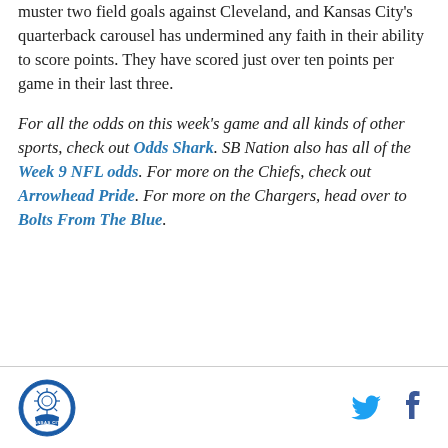muster two field goals against Cleveland, and Kansas City's quarterback carousel has undermined any faith in their ability to score points. They have scored just over ten points per game in their last three.
For all the odds on this week's game and all kinds of other sports, check out Odds Shark. SB Nation also has all of the Week 9 NFL odds. For more on the Chiefs, check out Arrowhead Pride. For more on the Chargers, head over to Bolts From The Blue.
Kansas City logo, Twitter icon, Facebook icon